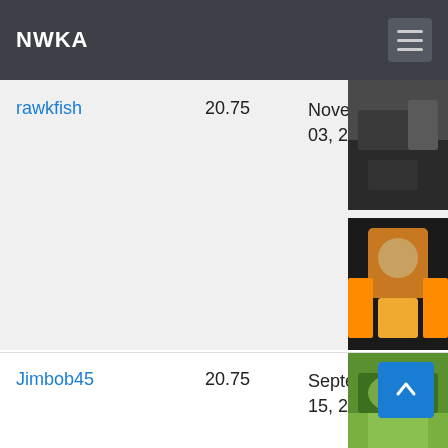NWKA
| User | Score | Date | Photo |
| --- | --- | --- | --- |
| rawkfish | 20.75 | November 03, 2013 | [photo] |
| Jimbob45 | 20.75 | September 15, 2018 | [photo] |